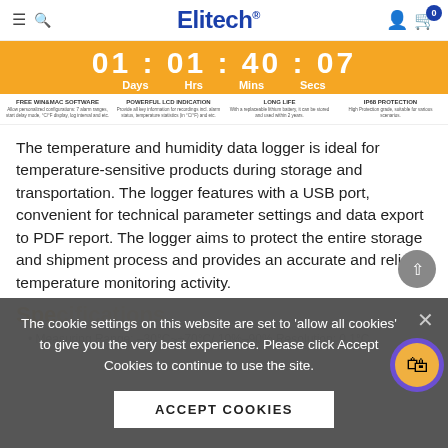Elitech® [navigation bar with hamburger, search, user, cart icons]
[Figure (screenshot): Orange countdown timer bar showing 01:01:40:07 Days Hrs Mins Secs]
[Figure (infographic): Four feature columns: FREE WIN&MAC SOFTWARE, POWERFUL LCD INDICATION, LONG LIFE, IP68 PROTECTION with small descriptions]
The temperature and humidity data logger is ideal for temperature-sensitive products during storage and transportation. The logger features with a USB port, convenient for technical parameter settings and data export to PDF report. The logger aims to protect the entire storage and shipment process and provides an accurate and reliable temperature monitoring activity.
Specifications
Measuring Range: -30°C~+70°C/ 10%-90% Resolution: 0.1°C
The cookie settings on this website are set to 'allow all cookies' to give you the very best experience. Please click Accept Cookies to continue to use the site.
ACCEPT COOKIES